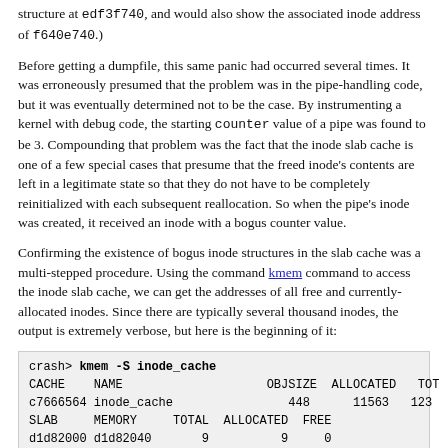structure at edf3f740, and would also show the associated inode address of f640e740.)
Before getting a dumpfile, this same panic had occurred several times. It was erroneously presumed that the problem was in the pipe-handling code, but it was eventually determined not to be the case. By instrumenting a kernel with debug code, the starting counter value of a pipe was found to be 3. Compounding that problem was the fact that the inode slab cache is one of a few special cases that presume that the freed inode's contents are left in a legitimate state so that they do not have to be completely reinitialized with each subsequent reallocation. So when the pipe's inode was created, it received an inode with a bogus counter value.
Confirming the existence of bogus inode structures in the slab cache was a multi-stepped procedure. Using the command kmem command to access the inode slab cache, we can get the addresses of all free and currently-allocated inodes. Since there are typically several thousand inodes, the output is extremely verbose, but here is the beginning of it:
crash> kmem -S inode_cache
CACHE    NAME                    OBJSIZE  ALLOCATED   TOT
c7666564 inode_cache                 448      11563   123
SLAB     MEMORY     TOTAL  ALLOCATED  FREE
d1d82000 d1d82040       9          9     0
FREE...